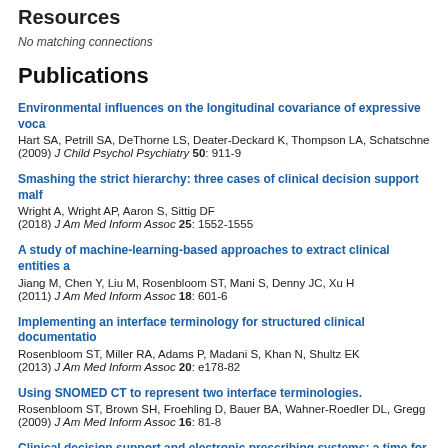Resources
No matching connections
Publications
Environmental influences on the longitudinal covariance of expressive voca... Hart SA, Petrill SA, DeThorne LS, Deater-Deckard K, Thompson LA, Schatschne... (2009) J Child Psychol Psychiatry 50: 911-9
Smashing the strict hierarchy: three cases of clinical decision support malf... Wright A, Wright AP, Aaron S, Sittig DF (2018) J Am Med Inform Assoc 25: 1552-1555
A study of machine-learning-based approaches to extract clinical entities a... Jiang M, Chen Y, Liu M, Rosenbloom ST, Mani S, Denny JC, Xu H (2011) J Am Med Inform Assoc 18: 601-6
Implementing an interface terminology for structured clinical documentatio... Rosenbloom ST, Miller RA, Adams P, Madani S, Khan N, Shultz EK (2013) J Am Med Inform Assoc 20: e178-82
Using SNOMED CT to represent two interface terminologies. Rosenbloom ST, Brown SH, Froehling D, Bauer BA, Wahner-Roedler DL, Gregg... (2009) J Am Med Inform Assoc 16: 81-8
Clinical decision support and electronic prescribing systems: a time for res... Miller RA, Gardner RM, Johnson KB, Hripcsak G